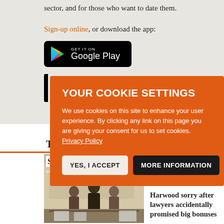sector, and for those who want to date them.
Sign-up online, or download the app:
[Figure (logo): Google Play store badge — black rounded rectangle with Play triangle icon and 'GET IT ON Google Play' text in white]
[Figure (screenshot): Cookie consent overlay on orange background with title YOUR COOKIE SETTINGS, body text about cookie usage, Privacy Policy link, and two buttons: YES, I ACCEPT and MORE INFORMATION]
YOUR COOKIE SETTINGS
We use cookies on this site to enhance your user experience. By clicking any link on this page you are giving your consent for us to set cookies. Privacy Policy
YES, I ACCEPT
MORE INFORMATION
[Figure (photo): Photo showing Stephenson Harwood law firm office reception area with people seated]
Harwood sorry after lawyers accidentally promised big bonuses